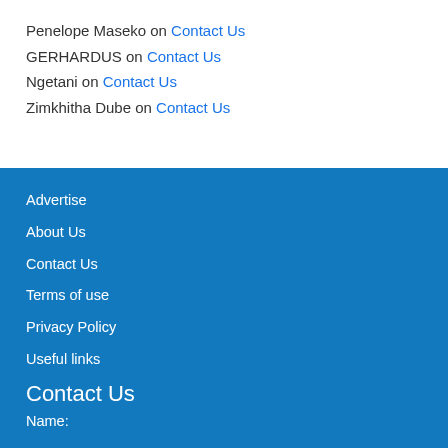Penelope Maseko on Contact Us
GERHARDUS on Contact Us
Ngetani on Contact Us
Zimkhitha Dube on Contact Us
Advertise
About Us
Contact Us
Terms of use
Privacy Policy
Useful links
Contact Us
Name: